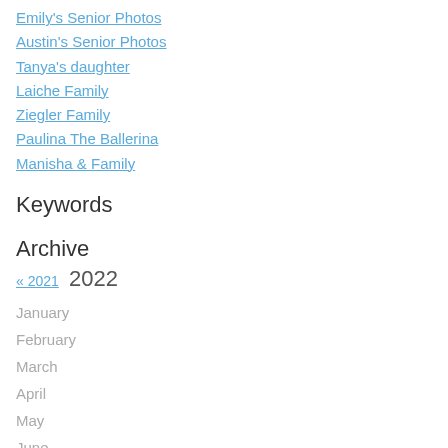Emily's Senior Photos
Austin's Senior Photos
Tanya's daughter
Laiche Family
Ziegler Family
Paulina The Ballerina
Manisha & Family
Keywords
Archive
« 2021 2022
January
February
March
April
May
June
July